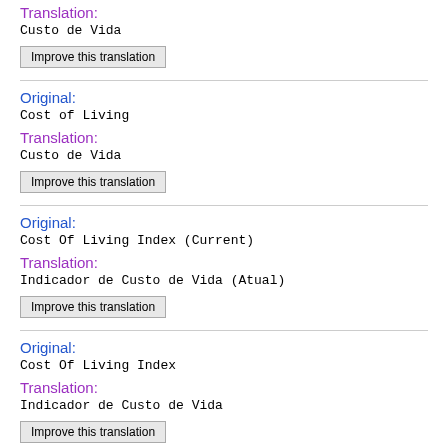Translation:
Custo de Vida
Improve this translation
Original:
Cost of Living
Translation:
Custo de Vida
Improve this translation
Original:
Cost Of Living Index (Current)
Translation:
Indicador de Custo de Vida (Atual)
Improve this translation
Original:
Cost Of Living Index
Translation:
Indicador de Custo de Vida
Improve this translation